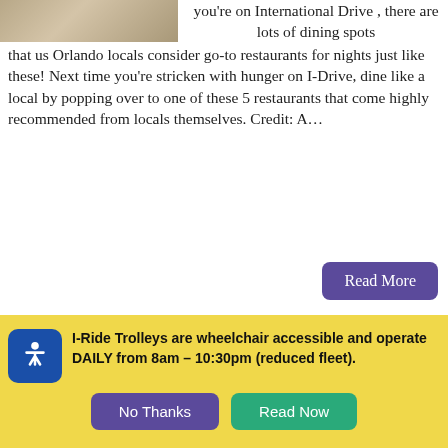[Figure (photo): Partial food/dish photo cropped at top left]
you're on International Drive , there are lots of dining spots that us Orlando locals consider go-to restaurants for nights just like these! Next time you're stricken with hunger on I-Drive, dine like a local by popping over to one of these 5 restaurants that come highly recommended from locals themselves. Credit: A…
Read More
Magical Dining on International Drive
[Figure (photo): Colorful magical dining scene on International Drive]
Food… It fuels our days of excitement on I-Drive , brings
I-Ride Trolleys are wheelchair accessible and operate DAILY from 8am – 10:30pm (reduced fleet).
No Thanks
Read Now